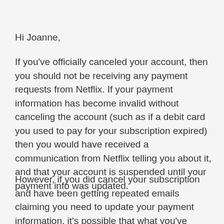Hi Joanne,
If you've officially canceled your account, then you should not be receiving any payment requests from Netflix. If your payment information has become invalid without canceling the account (such as if a debit card you used to pay for your subscription expired) then you would have received a communication from Netflix telling you about it, and that your account is suspended until your payment info was updated.
However, if you did cancel your subscription and have been getting repeated emails claiming you need to update your payment information, it's possible that what you've received is not from Netflix at all, but actually, a